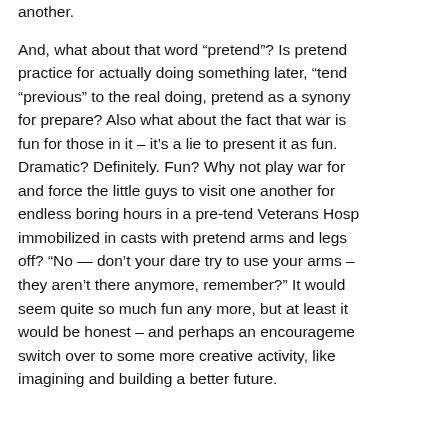another. And, what about that word “pretend”? Is pretend practice for actually doing something later, “tend” “previous” to the real doing, pretend as a synonym for prepare? Also what about the fact that war is fun for those in it – it’s a lie to present it as fun. Dramatic? Definitely. Fun? Why not play war for and force the little guys to visit one another for endless boring hours in a pre-tend Veterans Hospital immobilized in casts with pretend arms and legs off? “No — don’t your dare try to use your arms – they aren’t there anymore, remember?”  It would seem quite so much fun any more, but at least it would be honest – and perhaps an encouragement switch over to some more creative activity, like imagining and building a better future.